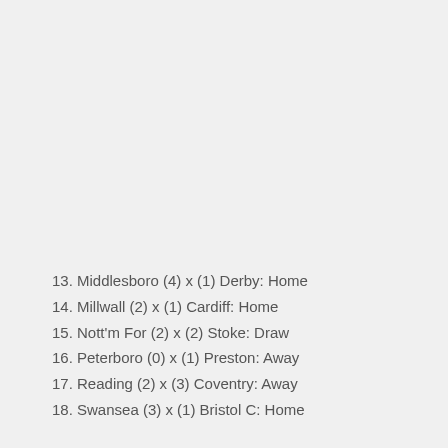13. Middlesboro (4) x (1) Derby: Home
14. Millwall (2) x (1) Cardiff: Home
15. Nott'm For (2) x (2) Stoke: Draw
16. Peterboro (0) x (1) Preston: Away
17. Reading (2) x (3) Coventry: Away
18. Swansea (3) x (1) Bristol C: Home